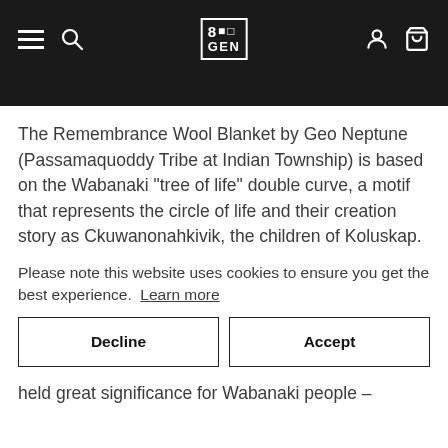8th Generation website navigation bar with hamburger menu, search, logo, user and cart icons
The Remembrance Wool Blanket by Geo Neptune (Passamaquoddy Tribe at Indian Township) is based on the Wabanaki "tree of life" double curve, a motif that represents the circle of life and their creation story as Ckuwanonahkivik, the children of Koluskap.
Please note this website uses cookies to ensure you get the best experience. Learn more
Decline
Accept
held great significance for Wabanaki people –